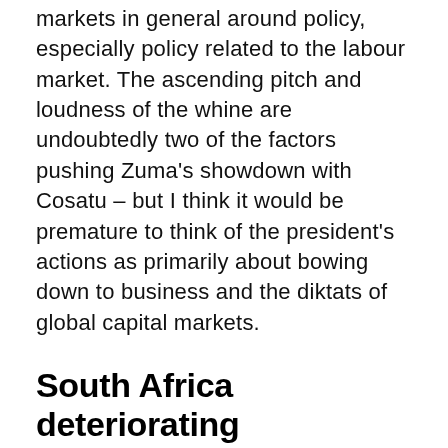markets in general around policy, especially policy related to the labour market. The ascending pitch and loudness of the whine are undoubtedly two of the factors pushing Zuma's showdown with Cosatu – but I think it would be premature to think of the president's actions as primarily about bowing down to business and the diktats of global capital markets.
South Africa deteriorating investment destination
Complaints about South Africa's hostile policy environment are getting louder.
Pepkor chairman Christo Wiese added his voice